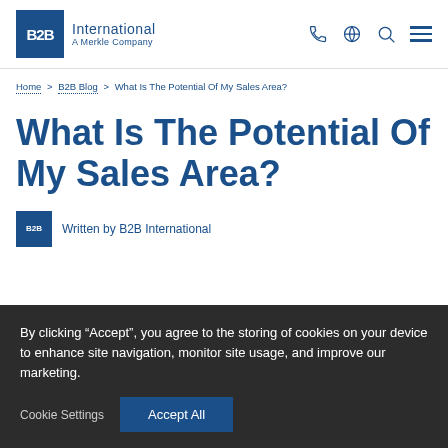B2B International — A Merkle Company
Home > B2B Blog > What Is The Potential Of My Sales Area?
What Is The Potential Of My Sales Area?
Written by B2B International
By clicking “Accept”, you agree to the storing of cookies on your device to enhance site navigation, monitor site usage, and improve our marketing.